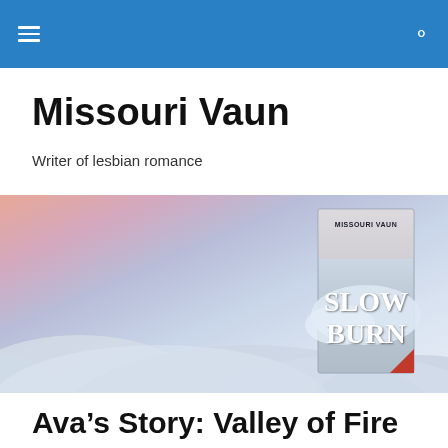Navigation bar with hamburger menu and search icon
Missouri Vaun
Writer of lesbian romance
[Figure (photo): Hero banner image showing a snowy winter landscape with soft pink and blue tones. A book cover for 'Slow Burn' by Missouri Vaun is displayed on the right side of the banner, featuring a snowy scene with bold white title text and a small red corner fold.]
Ava’s Story: Valley of Fire